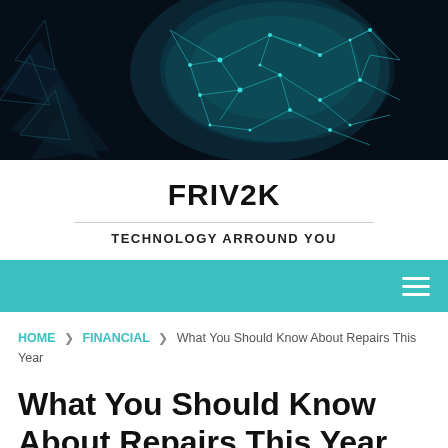[Figure (photo): Dark hero image showing a glowing blue neural network or brain structure on a dark/black background with geometric elements]
FRIV2K
TECHNOLOGY ARROUND YOU
Navigation bar with hamburger menu icon
HOME » FINANCIAL » What You Should Know About Repairs This Year
What You Should Know About Repairs This Year